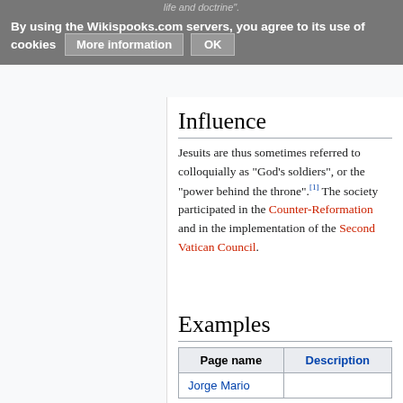life and doctrine".
By using the Wikispooks.com servers, you agree to its use of cookies   More information   OK
Influence
Jesuits are thus sometimes referred to colloquially as "God's soldiers", or the "power behind the throne".[1] The society participated in the Counter-Reformation and in the implementation of the Second Vatican Council.
Examples
| Page name | Description |
| --- | --- |
| Jorge Mario |  |